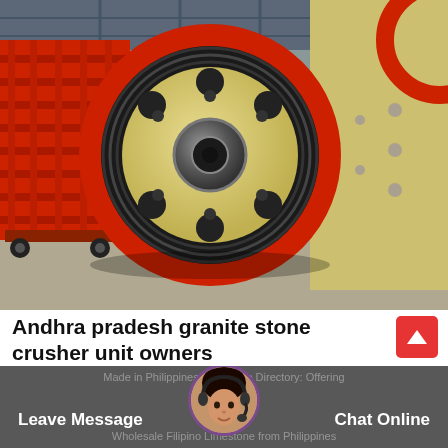[Figure (photo): Industrial flywheel/pulley wheel for a jaw stone crusher, painted cream/yellow with a red outer rim and black belt grooves. The large circular wheel is sitting on a factory floor. A red scissor lift/scaffold is visible on the left, and a yellow machinery housing is on the right. Factory ceiling with structural beams visible in the background.]
Andhra pradesh granite stone crusher unit owners
Made in Philippines Limestone Directory: Offering Wholesale Filipino Limestone from Philippines